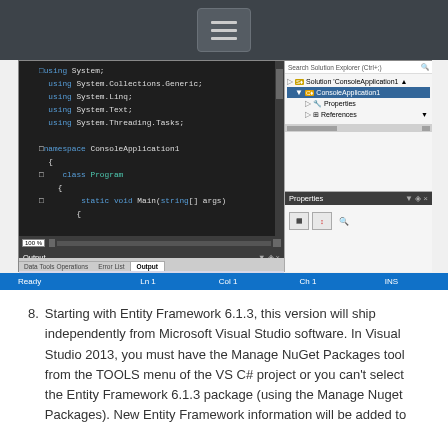[Figure (screenshot): Visual Studio IDE screenshot showing C# code editor with namespace ConsoleApplication1 and class Program, Solution Explorer panel, Properties panel, Output panel, and status bar showing Ready Ln1 Col1 Ch1 INS]
8. Starting with Entity Framework 6.1.3, this version will ship independently from Microsoft Visual Studio software. In Visual Studio 2013, you must have the Manage NuGet Packages tool from the TOOLS menu of the VS C# project or you can't select the Entity Framework 6.1.3 package (using the Manage Nuget Packages). New Entity Framework information will be added to